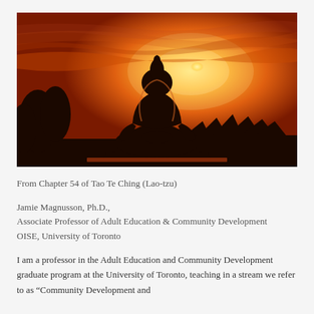[Figure (photo): Silhouette of a large seated Buddha statue against a vivid orange and yellow sunset sky, with temple rooftops visible in the background and trees on the left.]
From Chapter 54 of Tao Te Ching (Lao-tzu)
Jamie Magnusson, Ph.D.,
Associate Professor of Adult Education & Community Development
OISE, University of Toronto
I am a professor in the Adult Education and Community Development graduate program at the University of Toronto, teaching in a stream we refer to as “Community Development and